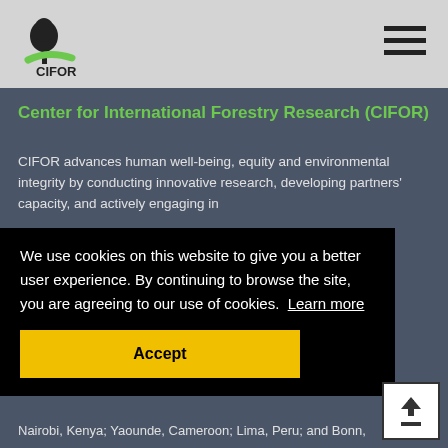[Figure (logo): CIFOR logo - tree silhouette with green swoosh and CIFOR text]
CIFOR website header with logo and hamburger menu
Center for International Forestry Research (CIFOR)
CIFOR advances human well-being, equity and environmental integrity by conducting innovative research, developing partners' capacity, and actively engaging in policy dialogues with partners across the tropics. CIFOR is a CGIAR Research Center, and leads the CGIAR Research Program on Forests, Trees and Agroforestry (FTA). Our headquarters are in Bogor, Indonesia, with offices in Nairobi, Kenya; Yaounde, Cameroon; Lima, Peru; and Bonn,
We use cookies on this website to give you a better user experience. By continuing to browse the site, you are agreeing to our use of cookies.  Learn more
Accept